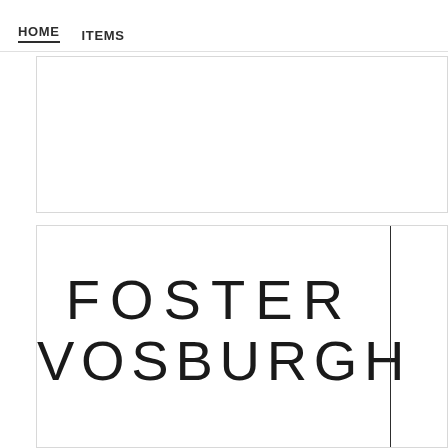HOME    ITEMS
[Figure (other): Empty white card/panel (top)]
[Figure (logo): Foster Vosburgh logo text in thin uppercase letters with a vertical line on the right side]